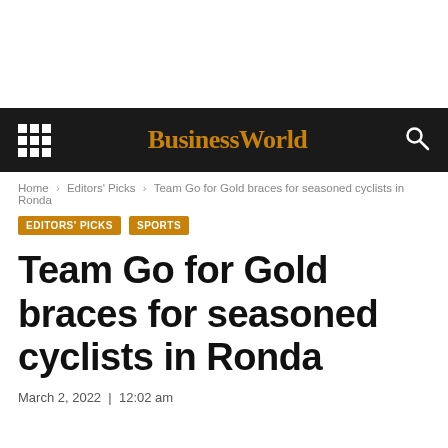BusinessWorld
Home > Editors' Picks > Team Go for Gold braces for seasoned cyclists in Ronda
EDITORS' PICKS  SPORTS
Team Go for Gold braces for seasoned cyclists in Ronda
March 2, 2022 | 12:02 am